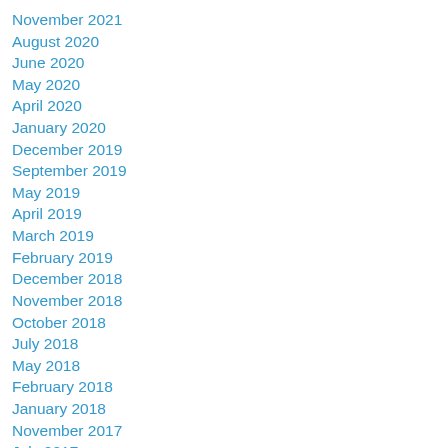November 2021
August 2020
June 2020
May 2020
April 2020
January 2020
December 2019
September 2019
May 2019
April 2019
March 2019
February 2019
December 2018
November 2018
October 2018
July 2018
May 2018
February 2018
January 2018
November 2017
July 2017